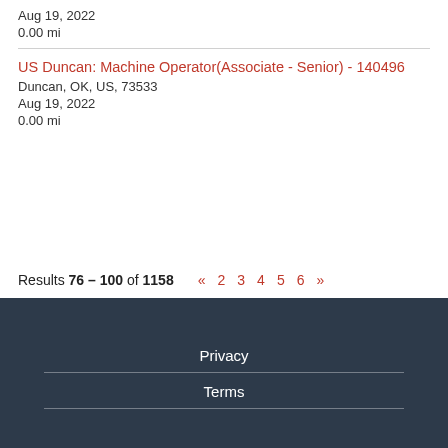Aug 19, 2022
0.00 mi
US Duncan: Machine Operator(Associate - Senior) - 140496
Duncan, OK, US, 73533
Aug 19, 2022
0.00 mi
Results 76 – 100 of 1158  « 2 3 4 5 6 »
Privacy
Terms